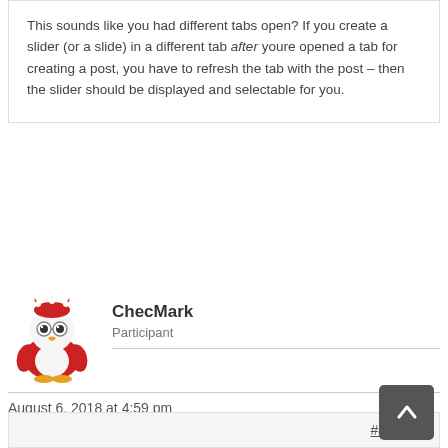This sounds like you had different tabs open? If you create a slider (or a slide) in a different tab after youre opened a tab for creating a post, you have to refresh the tab with the post – then the slider should be displayed and selectable for you.
ChecMark
Participant
August 6, 2018 at 4:59 pm
Post count: 3
#494029
No. As I said I have never used Fusion Slider in all the years I've used Avada. I created the slide then created the slider, but when I created the slider I